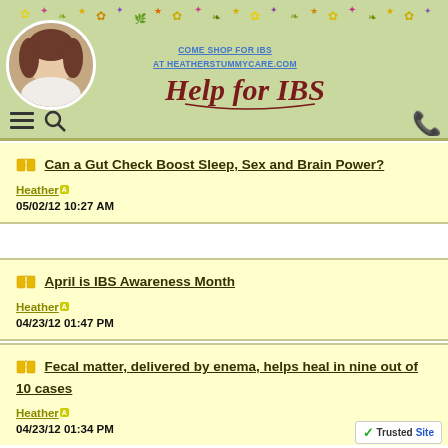Help for IBS — heatherstummycare.com
COME SHOP FOR IBS
AT HEATHERSTUMMYCARE.COM
Can a Gut Check Boost Sleep, Sex and Brain Power? — Heather — 05/02/12 10:27 AM
April is IBS Awareness Month — Heather — 04/23/12 01:47 PM
Fecal matter, delivered by enema, helps heal in nine out of 10 cases — Heather — 04/23/12 01:34 PM